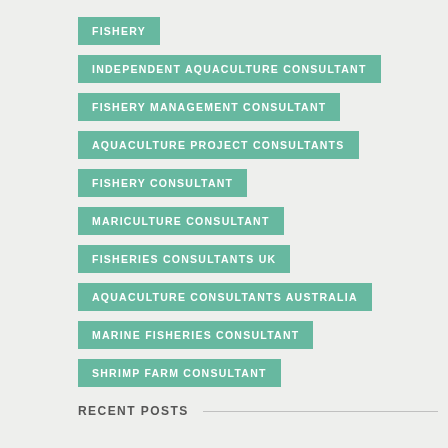FISHERY
INDEPENDENT AQUACULTURE CONSULTANT
FISHERY MANAGEMENT CONSULTANT
AQUACULTURE PROJECT CONSULTANTS
FISHERY CONSULTANT
MARICULTURE CONSULTANT
FISHERIES CONSULTANTS UK
AQUACULTURE CONSULTANTS AUSTRALIA
MARINE FISHERIES CONSULTANT
SHRIMP FARM CONSULTANT
RECENT POSTS